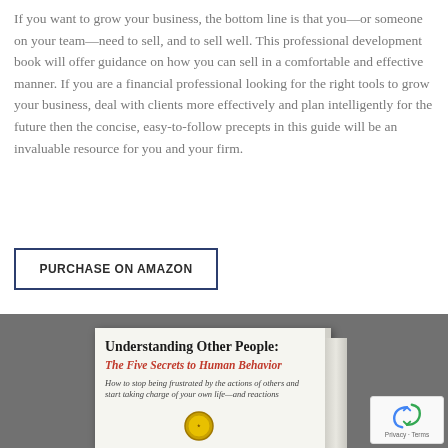If you want to grow your business, the bottom line is that you—or someone on your team—need to sell, and to sell well. This professional development book will offer guidance on how you can sell in a comfortable and effective manner. If you are a financial professional looking for the right tools to grow your business, deal with clients more effectively and plan intelligently for the future then the concise, easy-to-follow precepts in this guide will be an invaluable resource for you and your firm.
PURCHASE ON AMAZON
[Figure (photo): Book cover image on grey background showing 'Understanding Other People: The Five Secrets to Human Behavior' with subtitle tagline and a gold medal seal at bottom]